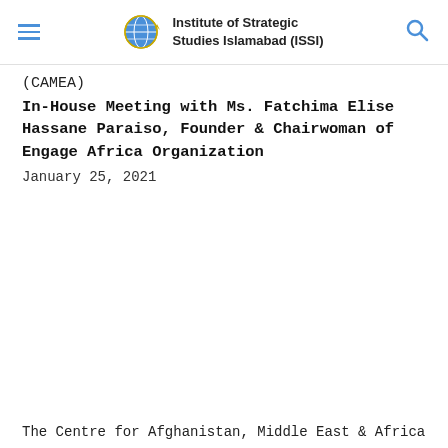Institute of Strategic Studies Islamabad (ISSI)
(CAMEA)
In-House Meeting with Ms. Fatchima Elise Hassane Paraiso, Founder & Chairwoman of Engage Africa Organization
January 25, 2021
The Centre for Afghanistan, Middle East & Africa